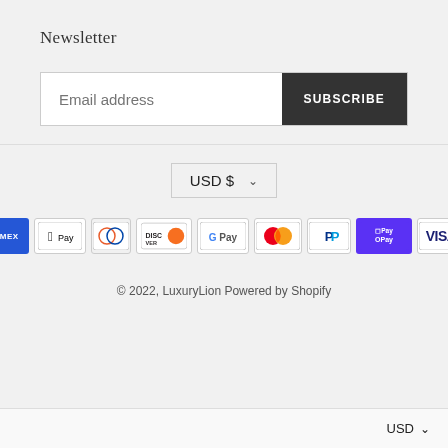Newsletter
Email address  SUBSCRIBE
USD $
[Figure (other): Payment method icons: American Express, Apple Pay, Diners Club, Discover, Google Pay, Mastercard, PayPal, Shop Pay, Visa]
© 2022, LuxuryLion Powered by Shopify
USD